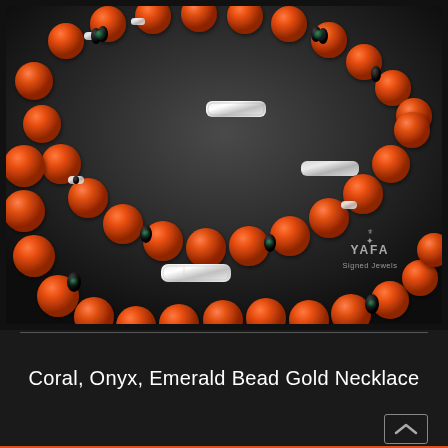[Figure (photo): A multi-strand necklace with large orange/coral round beads interspersed with dark onyx disc beads and green emerald beads and diamond-encrusted bar clasps, displayed on a dark background. YAFA Signed Jewels logo is visible in the lower right corner of the photo.]
Coral, Onyx, Emerald Bead Gold Necklace